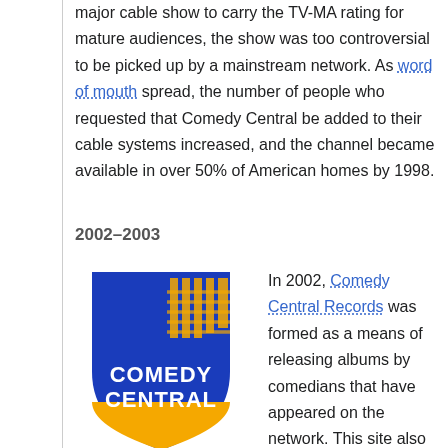major cable show to carry the TV-MA rating for mature audiences, the show was too controversial to be picked up by a mainstream network. As word of mouth spread, the number of people who requested that Comedy Central be added to their cable systems increased, and the channel became available in over 50% of American homes by 1998.
2002–2003
[Figure (logo): Comedy Central logo: blue shield/building shape with gold diagonal stripes, white text reading COMEDY CENTRAL, yellow bottom portion]
In 2002, Comedy Central Records was formed as a means of releasing albums by comedians that have appeared on the network. This site also